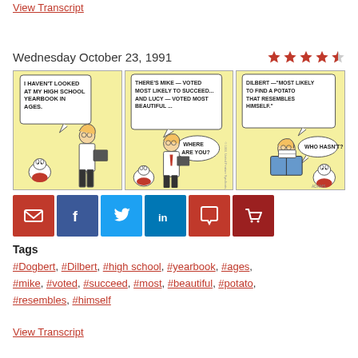View Transcript
Wednesday October 23, 1991
[Figure (illustration): Dilbert comic strip from October 23, 1991. Three panels. Panel 1: Dilbert says 'I HAVEN'T LOOKED AT MY HIGH SCHOOL YEARBOOK IN AGES.' with Dogbert nearby. Panel 2: Dilbert says 'THERE'S MIKE — VOTED MOST LIKELY TO SUCCEED... AND LUCY — VOTED MOST BEAUTIFUL...' followed by 'WHERE ARE YOU?' Panel 3: Text reads 'DILBERT — "MOST LIKELY TO FIND A POTATO THAT RESEMBLES HIMSELF."' WHO HASN'T? caption.]
Tags
#Dogbert, #Dilbert, #high school, #yearbook, #ages, #mike, #voted, #succeed, #most, #beautiful, #potato, #resembles, #himself
View Transcript